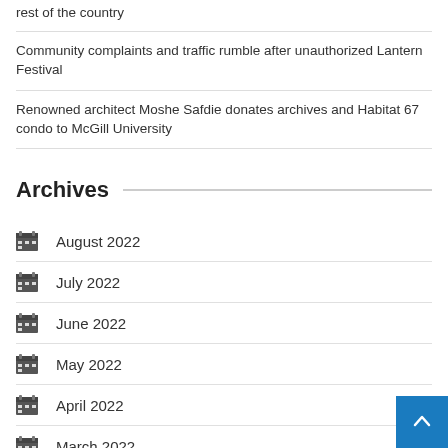rest of the country
Community complaints and traffic rumble after unauthorized Lantern Festival
Renowned architect Moshe Safdie donates archives and Habitat 67 condo to McGill University
Archives
August 2022
July 2022
June 2022
May 2022
April 2022
March 2022